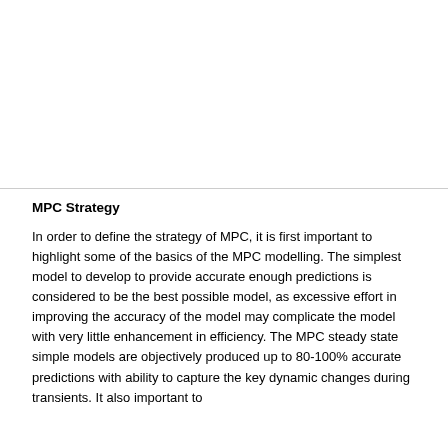[Figure (other): Blank white area at top of page, likely continuation from previous page content (figure or whitespace above the fold).]
MPC Strategy
In order to define the strategy of MPC, it is first important to highlight some of the basics of the MPC modelling. The simplest model to develop to provide accurate enough predictions is considered to be the best possible model, as excessive effort in improving the accuracy of the model may complicate the model with very little enhancement in efficiency. The MPC steady state simple models are objectively produced up to 80-100% accurate predictions with ability to capture the key dynamic changes during transients. It also important to